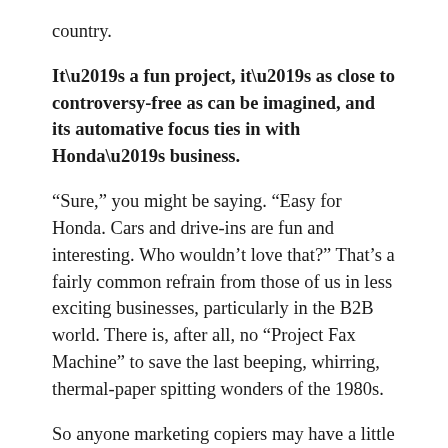country.
It’s a fun project, it’s as close to controversy-free as can be imagined, and its automative focus ties in with Honda’s business.
“Sure,” you might be saying. “Easy for Honda. Cars and drive-ins are fun and interesting. Who wouldn’t love that?” That’s a fairly common refrain from those of us in less exciting businesses, particularly in the B2B world. There is, after all, no “Project Fax Machine” to save the last beeping, whirring, thermal-paper spitting wonders of the 1980s.
So anyone marketing copiers may have a little